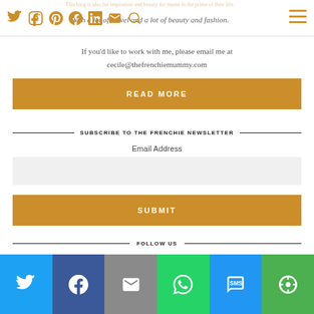This blog is also for inspiration and beauty for mums in the prime of their life. With a lot of travel and a lot of beauty and fashion.
If you'd like to work with me, please email me at cecile@thefrenchiemummy.com
READ MORE
SUBSCRIBE TO THE FRENCHIE NEWSLETTER
Email Address
SUBMIT
FOLLOW US